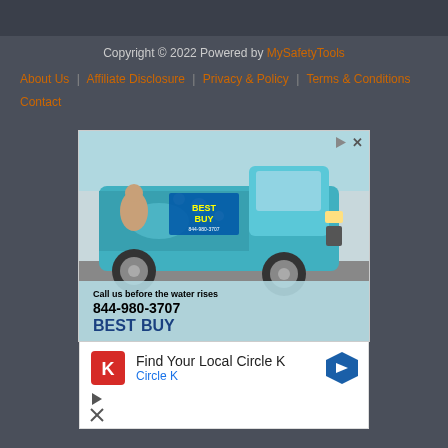Copyright © 2022 Powered by MySafetyTools
About Us
Affiliate Disclosure
Privacy & Policy
Terms & Conditions
Contact
[Figure (photo): Advertisement showing a teal/blue pickup truck with Best Buy water damage restoration branding. Text on ad reads: Call us before the water rises 844-980-3707 BEST BUY]
[Figure (infographic): Advertisement for Circle K with red Circle K logo icon, text: Find Your Local Circle K, Circle K, with a blue navigation arrow icon]